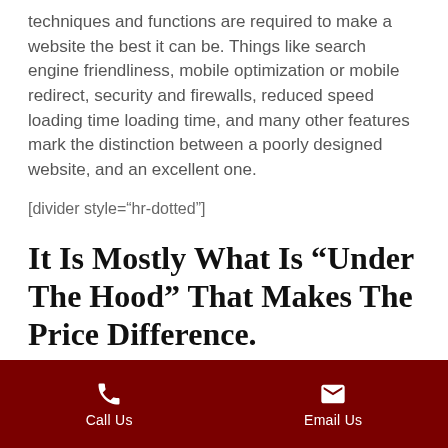techniques and functions are required to make a website the best it can be. Things like search engine friendliness, mobile optimization or mobile redirect, security and firewalls, reduced speed loading time loading time, and many other features mark the distinction between a poorly designed website, and an excellent one.
[divider style="hr-dotted"]
It Is Mostly What Is “Under The Hood” That Makes The Price Difference.
Of course, there are differences between what
Call Us  Email Us